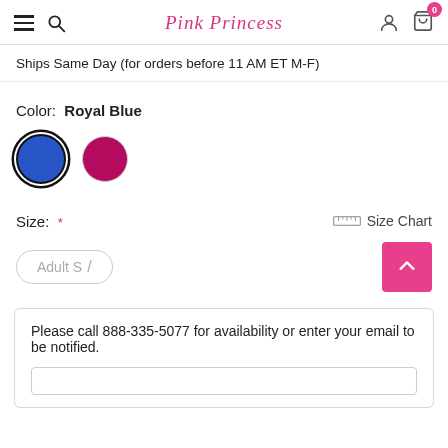Pink Princess
Ships Same Day (for orders before 11 AM ET M-F)
Color:  Royal Blue
[Figure (illustration): Two color swatches: a royal blue circle with dark border (selected) and a pink/magenta circle]
Size:  * Size Chart
Adult S
Please call 888-335-5077 for availability or enter your email to be notified.